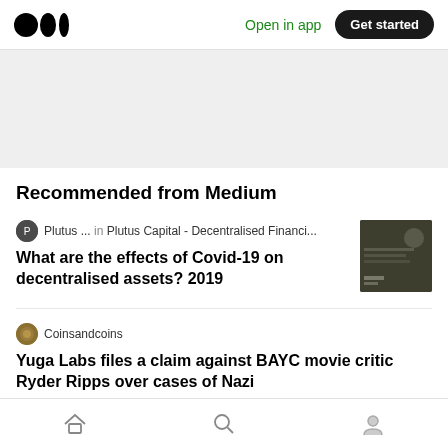Medium — Open in app — Get started
[Figure (screenshot): Gray placeholder/banner area below nav bar]
Recommended from Medium
Plutus ... in Plutus Capital - Decentralised Financi...
What are the effects of Covid-19 on decentralised assets? 2019
[Figure (photo): Dark thumbnail image for Plutus Capital article]
Coinsandcoins
Yuga Labs files a claim against BAYC movie critic Ryder Ripps over cases of Nazi
Home | Search | Profile